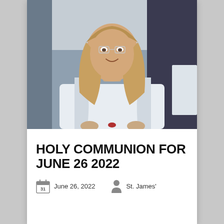[Figure (photo): A smiling woman with long blonde hair and clear-framed glasses, wearing a white alb or vestment, seated indoors.]
HOLY COMMUNION FOR JUNE 26 2022
June 26, 2022    St. James'